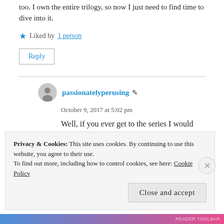too. I own the entire trilogy, so now I just need to find time to dive into it.
Liked by 1 person
Reply
passionatelyperusing
October 9, 2017 at 5:02 pm
Well, if you ever get to the series I would definitely
Privacy & Cookies: This site uses cookies. By continuing to use this website, you agree to their use. To find out more, including how to control cookies, see here: Cookie Policy
Close and accept